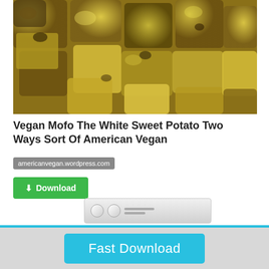[Figure (photo): Close-up photo of roasted or cooked white sweet potato cubes, golden-yellow colored with some brown spots]
Vegan Mofo The White Sweet Potato Two Ways Sort Of American Vegan
americanvegan.wordpress.com
[Figure (other): Green download button with download icon and text 'Download']
[Figure (photo): Partial image of a white electronic device at the bottom of the main section]
Fast Download